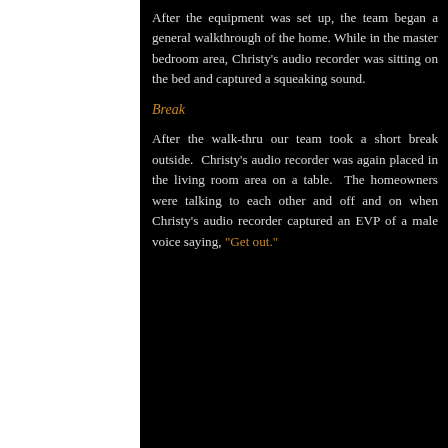After the equipment was set up, the team began a general walkthrough of the home. While in the master bedroom area, Christy's audio recorder was sitting on the bed and captured a squeaking sound.
Break
After the walk-thru our team took a short break outside.  Christy's audio recorder was again placed in the living room area on a table.  The homeowners were talking to each other and off and on when Christy's audio recorder captured an EVP of a male voice saying, "Get out."